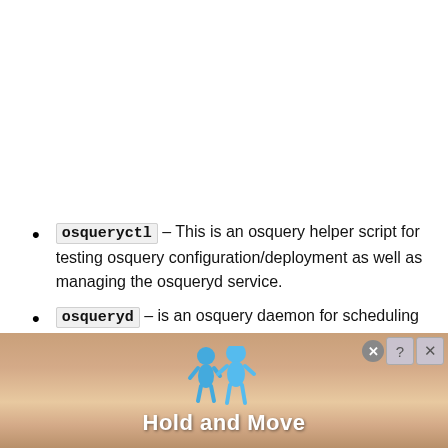osqueryctl – This is an osquery helper script for testing osquery configuration/deployment as well as managing the osqueryd service.
osqueryd – is an osquery daemon for scheduling queries and recording the changes in the state of OS.
osqueryi – is an osquery interactive shell. From the
[Figure (illustration): Advertisement banner at the bottom of the page showing two blue cartoon figures and text 'Hold and Move' on a wood-grain/brown striped background with close buttons in the top right corner.]